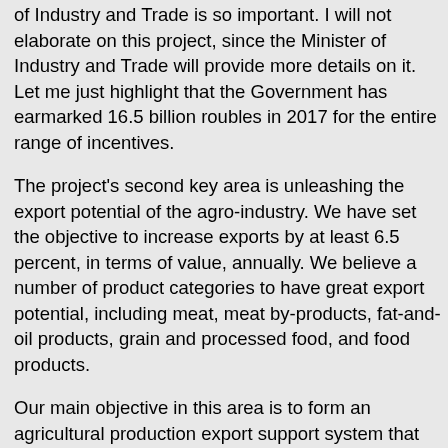of Industry and Trade is so important. I will not elaborate on this project, since the Minister of Industry and Trade will provide more details on it. Let me just highlight that the Government has earmarked 16.5 billion roubles in 2017 for the entire range of incentives.
The project's second key area is unleashing the export potential of the agro-industry. We have set the objective to increase exports by at least 6.5 percent, in terms of value, annually. We believe a number of product categories to have great export potential, including meat, meat by-products, fat-and-oil products, grain and processed food, and food products.
Our main objective in this area is to form an agricultural production export support system that would provide access for Russian agricultural produce to foreign markets. First, we will focus on reformatting Rosselkhoznadzor, which, as you are aware, is successfully restricting access for imported products to our market. Now, we want to redirect it so that it starts opening foreign markets the country's agricultural produce.